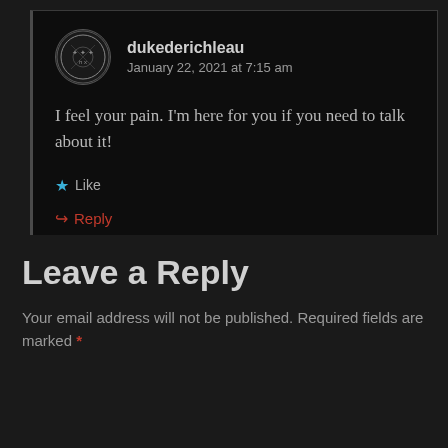dukederichleau
January 22, 2021 at 7:15 am
I feel your pain. I'm here for you if you need to talk about it!
Like
Reply
Leave a Reply
Your email address will not be published. Required fields are marked *